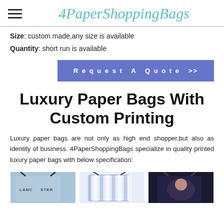4PaperShoppingBags
Size: custom made,any size is available
Quantity: short run is available
Request A Quote >>
Luxury Paper Bags With Custom Printing
Luxury paper bags are not only as high end shopper,but also as identity of business. 4PaperShoppingBags specialize in quality printed luxury paper bags with below specification:
[Figure (photo): Three luxury paper bag product photos showing blue bag with LANCASTER text, striped bag, and dark bag with a woman's portrait]